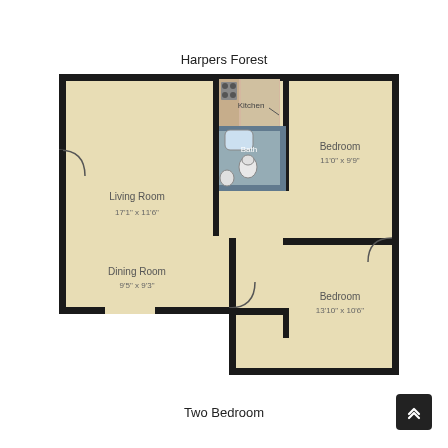Harpers Forest
[Figure (schematic): Floor plan of a two-bedroom apartment showing Living Room (17'1" x 11'6"), Kitchen, Bath, Bedroom (11'0" x 9'9"), Dining Room (9'5" x 9'3"), and Bedroom (13'10" x 10'6"). Layout includes doors, walls, bathroom fixtures (bathtub, toilet, sink), and kitchen appliances (stovetop).]
Two Bedroom